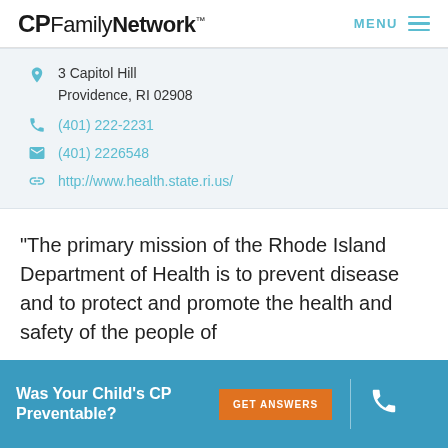CPFamilyNetwork MENU
3 Capitol Hill
Providence, RI 02908
(401) 222-2231
(401) 2226548
http://www.health.state.ri.us/
*The primary mission of the Rhode Island Department of Health is to prevent disease and to protect and promote the health and safety of the people of
Was Your Child's CP Preventable?
GET ANSWERS